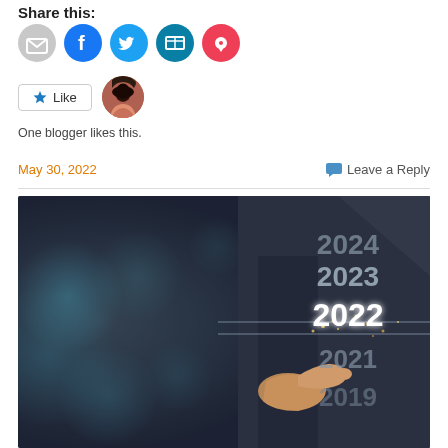Share this:
[Figure (infographic): Social sharing icons: email (gray circle), Facebook (blue circle), Twitter (cyan circle), LinkedIn (teal circle), Pocket (red/pink circle)]
[Figure (infographic): WordPress Like button with star icon and a blogger avatar thumbnail. Text: One blogger likes this.]
One blogger likes this.
May 30, 2022
Leave a Reply
[Figure (photo): Photo of a person in a dark suit pointing a finger at a glowing holographic display showing years 2019, 2020 (partially hidden), 2021, 2022 (brightly lit and selected), 2023, 2024, with bokeh blue circles in the background. The year 2022 is highlighted in bright white light.]